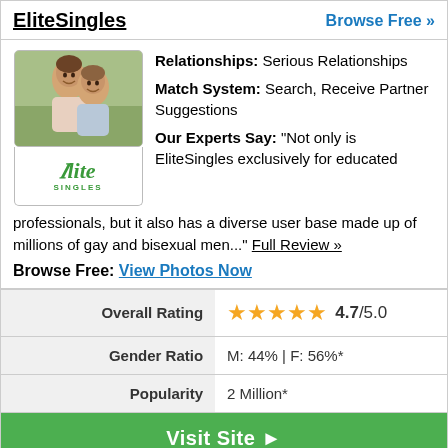EliteSingles
Browse Free »
[Figure (photo): Photo of two men smiling together, with Elite Singles logo below]
Relationships: Serious Relationships
Match System: Search, Receive Partner Suggestions
Our Experts Say: "Not only is EliteSingles exclusively for educated professionals, but it also has a diverse user base made up of millions of gay and bisexual men..." Full Review »
Browse Free: View Photos Now
|  |  |
| --- | --- |
| Overall Rating | ★★★★★ 4.7/5.0 |
| Gender Ratio | M: 44% | F: 56%* |
| Popularity | 2 Million* |
Visit Site ►